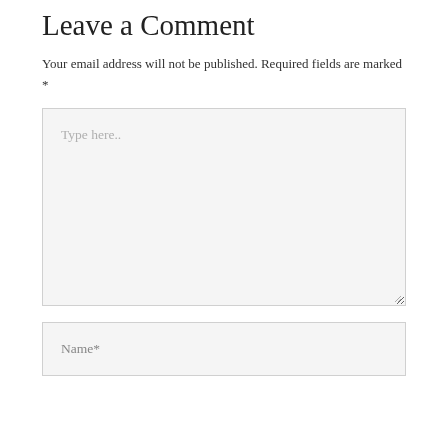Leave a Comment
Your email address will not be published. Required fields are marked *
[Figure (other): Comment text area input field with placeholder text 'Type here..' and resize handle]
[Figure (other): Name input field with placeholder text 'Name*']